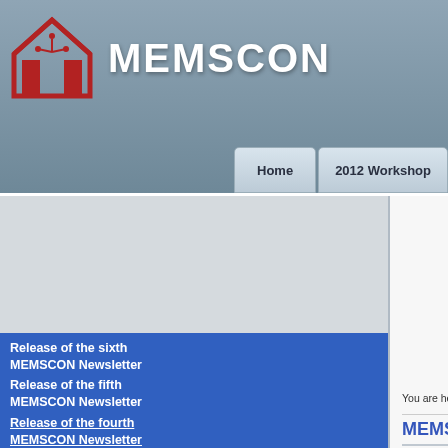MEMSCON
Home | 2012 Workshop
[Figure (logo): MEMSCON logo: red house/building silhouette with circuit-board lines]
[Figure (illustration): Rolled newspaper with NEWS text and motion lines]
Release of the sixth MEMSCON Newsletter
Release of the fifth MEMSCON Newsletter
Release of the fourth MEMSCON Newsletter
You are here: Homepage » Workshops » 2012 Workshop
MEMSCON Workshop 2012 - Ag…
| Time | Title |
| --- | --- |
| 09:00–09:05 | Welco… |